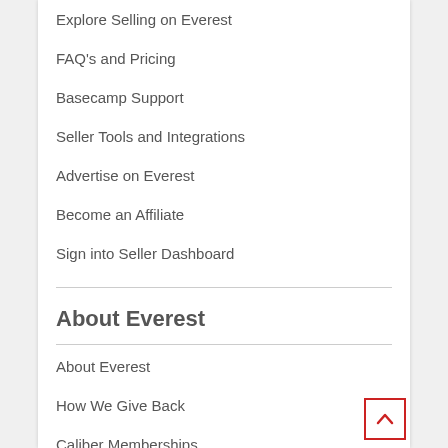Explore Selling on Everest
FAQ's and Pricing
Basecamp Support
Seller Tools and Integrations
Advertise on Everest
Become an Affiliate
Sign into Seller Dashboard
About Everest
About Everest
How We Give Back
Caliber Memberships